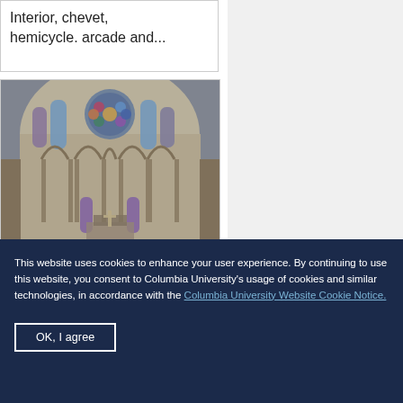Interior, chevet, hemicycle. arcade and...
[Figure (photo): Interior view of a Gothic cathedral chevet showing hemicycle arcade, stained glass rose windows and lancet windows, stone columns and arches, with altar visible in the background.]
This website uses cookies to enhance your user experience. By continuing to use this website, you consent to Columbia University’s usage of cookies and similar technologies, in accordance with the
Columbia University Website Cookie Notice.
OK, I agree